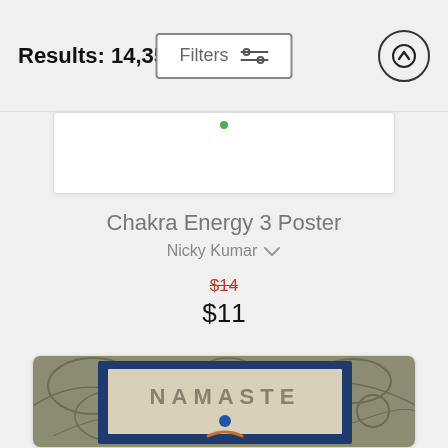Results: 14,355
Filters
Chakra Energy 3 Poster
Nicky Kumar
$14
$11
[Figure (photo): Partial view of a Namaste poster with blue border and decorative background, showing 'NAMASTE' text and a blue dot design]